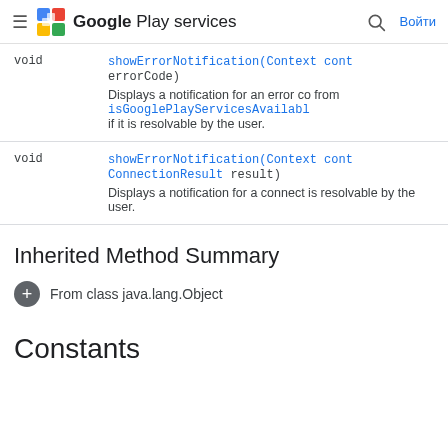Google Play services  Войти
| Return type | Method |
| --- | --- |
| void | showErrorNotification(Context cont errorCode)
Displays a notification for an error code from isGooglePlayServicesAvailable if it is resolvable by the user. |
| void | showErrorNotification(Context cont ConnectionResult result)
Displays a notification for a connection result that is resolvable by the user. |
Inherited Method Summary
+ From class java.lang.Object
Constants